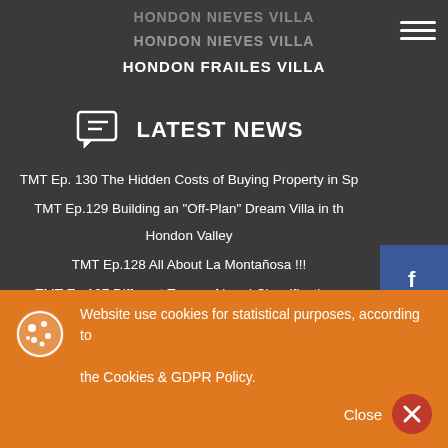HONDON NIEVES VILLA
HONDON NIEVES VILLA
HONDON FRAILES VILLA
LATEST NEWS
TMT Ep. 130 The Hidden Costs of Buying Property in Sp
TMT Ep.129 Building an "Off-Plan" Dream Villa in the Hondon Valley
TMT Ep.128 All About La Montañosa !!!
TMT Ep.127 Different Types of Land Classification... Urban, Rustic
TMT Ep.126 Understanding Spanish Restaurants.
TMT Ep.125 pt2 The Most Important Questions
Website use cookies for statistical purposes, according to the Cookies & GDPR Policy.
Close